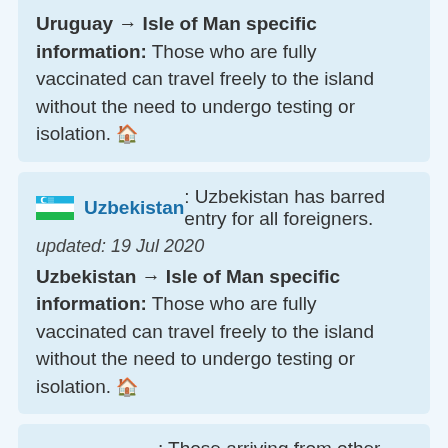Uruguay → Isle of Man specific information: Those who are fully vaccinated can travel freely to the island without the need to undergo testing or isolation. 🏠
Uzbekistan: Uzbekistan has barred entry for all foreigners. updated: 19 Jul 2020 Uzbekistan → Isle of Man specific information: Those who are fully vaccinated can travel freely to the island without the need to undergo testing or isolation. 🏠
Vanuatu: Those arriving from other nations will be quarantined for 7 days. updated: 23 Apr 2022